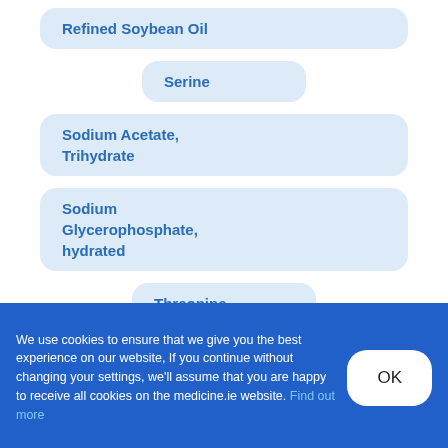Refined Soybean Oil
Serine
Sodium Acetate, Trihydrate
Sodium Glycerophosphate, hydrated
Threonine
Tryptophan
We use cookies to ensure that we give you the best experience on our website, If you continue without changing your settings, we'll assume that you are happy to receive all cookies on the medicine.ie website. Find out more